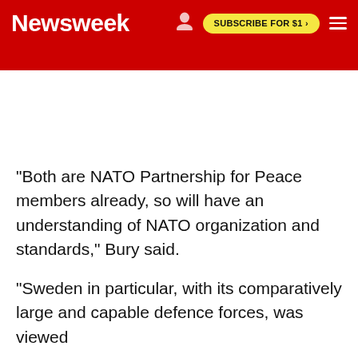Newsweek | SUBSCRIBE FOR $1 >
"Both are NATO Partnership for Peace members already, so will have an understanding of NATO organization and standards," Bury said.
"Sweden in particular, with its comparatively large and capable defence forces, was viewed